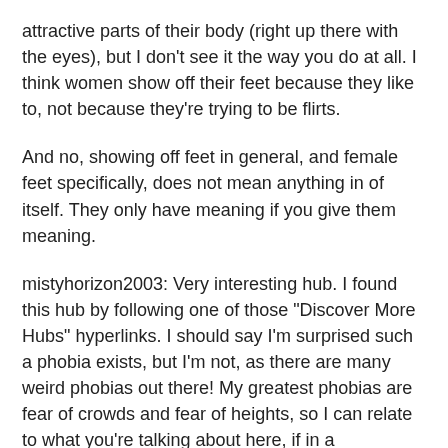attractive parts of their body (right up there with the eyes), but I don't see it the way you do at all. I think women show off their feet because they like to, not because they're trying to be flirts.
And no, showing off feet in general, and female feet specifically, does not mean anything in of itself. They only have meaning if you give them meaning.
mistyhorizon2003: Very interesting hub. I found this hub by following one of those "Discover More Hubs" hyperlinks. I should say I'm surprised such a phobia exists, but I'm not, as there are many weird phobias out there! My greatest phobias are fear of crowds and fear of heights, so I can relate to what you're talking about here, if in a roundabout way. I'll share this hub with my followers. Great work! :)